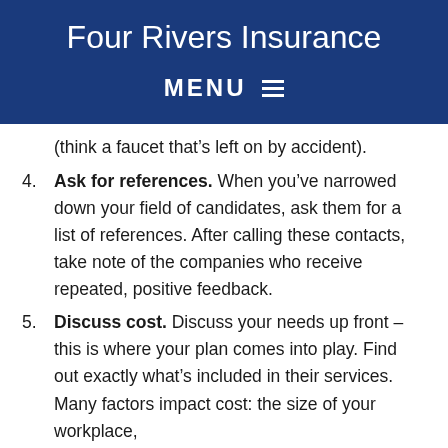Four Rivers Insurance
MENU ≡
(think a faucet that’s left on by accident).
4. Ask for references. When you’ve narrowed down your field of candidates, ask them for a list of references. After calling these contacts, take note of the companies who receive repeated, positive feedback.
5. Discuss cost. Discuss your needs up front – this is where your plan comes into play. Find out exactly what’s included in their services. Many factors impact cost: the size of your workplace,